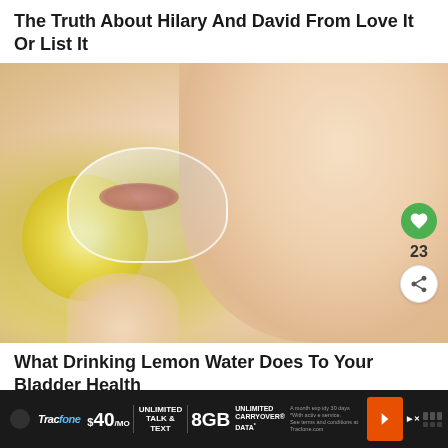The Truth About Hilary And David From Love It Or List It
[Figure (photo): Close-up photo of a person drinking lemon water from a glass with a lemon slice visible]
What Drinking Lemon Water Does To Your Bladder Health
[Figure (screenshot): Tracfone advertisement banner: $40/mo Unlimited Talk & Text, 8GB Unlimited Carryover Data]